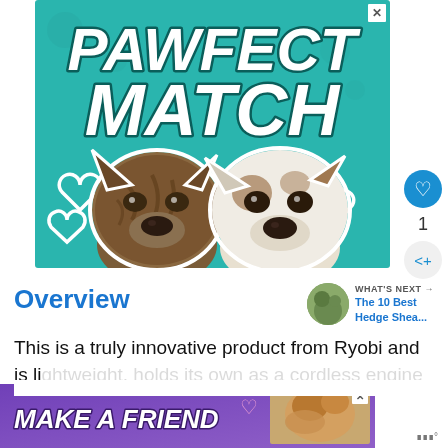[Figure (illustration): Advertisement banner with teal background showing 'PAWFECT MATCH' in large white bold italic text with two dog faces (a brindle dog and a white dog) and white heart outlines]
1
Overview
WHAT'S NEXT → The 10 Best Hedge Shea...
This is a truly innovative product from Ryobi and is lightweight, holds its own as a cordless engine bu...
[Figure (illustration): Bottom advertisement banner with purple gradient background showing 'MAKE A FRIEND' in white bold italic text with a dog photo and heart icon]